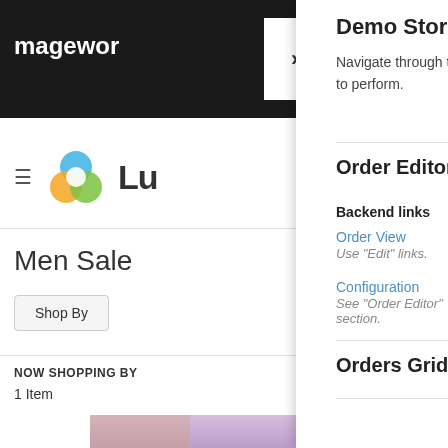[Figure (screenshot): Left panel of a Magento demo store website showing navigation bar with hamburger menu, colorful logo, 'Lu' text, Men Sale heading, Shop By button, NOW SHOPPING BY label, 1 Item text, and partial photo of a person wearing purple shorts at the bottom.]
Demo Store
Navigate through the links below that best describe the feature or function that you are looking to perform.
Order Editor
Backend links
Order View
Use "Edit" links.
Configuration
See "Order Editor" section.
Orders Grid